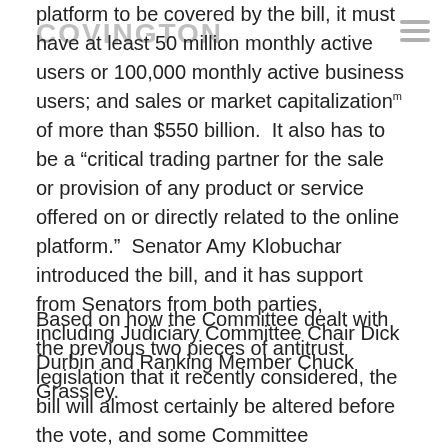COVINGTON
platform to be covered by the bill, it must have at least 50 million monthly active users or 100,000 monthly active business users; and sales or market capitalization of more than $550 billion.  It also has to be a “critical trading partner for the sale or provision of any product or service offered on or directly related to the online platform.”  Senator Amy Klobuchar introduced the bill, and it has support from Senators from both parties, including Judiciary Committee Chair Dick Durbin and Ranking Member Chuck Grassley.
Based on how the Committee dealt with the previous two pieces of antitrust legislation that it recently considered, the bill will almost certainly be altered before the vote, and some Committee